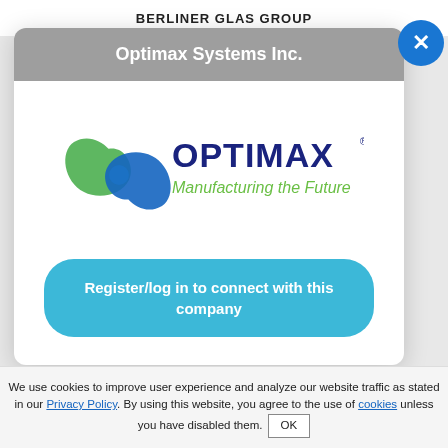BERLINER GLAS GROUP
Optimax Systems Inc.
[Figure (logo): Optimax logo with circular blue and green swirl icon, text OPTIMAX in dark blue, and tagline 'Manufacturing the Future' in green]
Register/log in to connect with this company
We use cookies to improve user experience and analyze our website traffic as stated in our Privacy Policy. By using this website, you agree to the use of cookies unless you have disabled them. OK